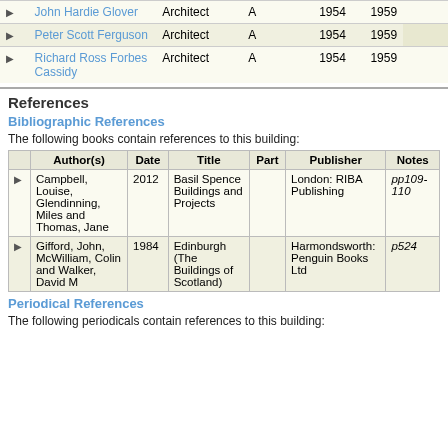|  | Name | Role | Type | Start | End | Notes |
| --- | --- | --- | --- | --- | --- | --- |
| ▶ | John Hardie Glover | Architect | A | 1954 | 1959 |  |
| ▶ | Peter Scott Ferguson | Architect | A | 1954 | 1959 |  |
| ▶ | Richard Ross Forbes Cassidy | Architect | A | 1954 | 1959 |  |
References
Bibliographic References
The following books contain references to this building:
|  | Author(s) | Date | Title | Part | Publisher | Notes |
| --- | --- | --- | --- | --- | --- | --- |
| ▶ | Campbell, Louise, Glendinning, Miles and Thomas, Jane | 2012 | Basil Spence Buildings and Projects |  | London: RIBA Publishing | pp109-110 |
| ▶ | Gifford, John, McWilliam, Colin and Walker, David M | 1984 | Edinburgh (The Buildings of Scotland) |  | Harmondsworth: Penguin Books Ltd | p524 |
Periodical References
The following periodicals contain references to this building: